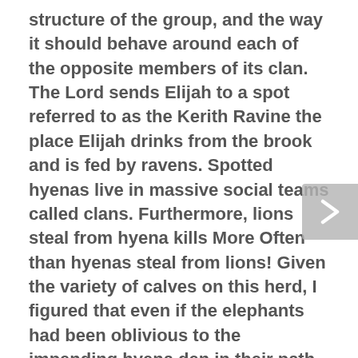structure of the group, and the way it should behave around each of the opposite members of its clan. The Lord sends Elijah to a spot referred to as the Kerith Ravine the place Elijah drinks from the brook and is fed by ravens. Spotted hyenas live in massive social teams called clans. Furthermore, lions steal from hyena kills More Often than hyenas steal from lions! Given the variety of calves on this herd, I figured that even if the elephants had been oblivious to the impending hyena den in their path, they wouldn't be keen to method the rhinos and risk altercation. After about 45 minutes of being stonewalled by Waffles, the elephants abandoned their turtle shell formation with their calves in the rear and nervously peered over their shoulders every couple of paces to make sure Waffles was not in pursuit. Luckily for me, Waffles,